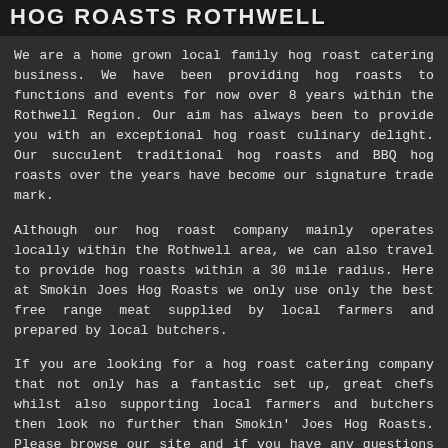HOG ROASTS ROTHWELL
We are a home grown local family hog roast catering business. We have been providing hog roasts to functions and events for now over 8 years within the Rothwell Region. Our aim has always been to provide you with an exceptional hog roast culinary delight. Our succulent traditional hog roasts and BBQ hog roasts over the years have become our signature trade mark.
Although our hog roast company mainly operates locally within the Rothwell area, we can also travel to provide hog roasts within a 30 mile radius. Here at Smokin Joes Hog Roasts we only use only the best free range meat supplied by local farmers and prepared by local butchers.
If you are looking for a hog roast catering company that not only has a fantastic set up, great chefs whilst also supporting local farmers and butchers then look no further than Smokin' Joes Hog Roasts. Please browse our site and if you have any questions or require a quote, then please feel free to call us or drop us an email via the contact us button.